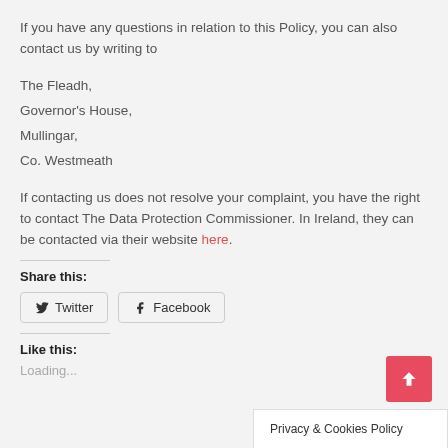If you have any questions in relation to this Policy, you can also contact us by writing to
The Fleadh,
Governor's House,
Mullingar,
Co. Westmeath
If contacting us does not resolve your complaint, you have the right to contact The Data Protection Commissioner. In Ireland, they can be contacted via their website here.
Share this:
[Figure (other): Twitter and Facebook share buttons]
Like this:
Loading...
Privacy & Cookies Policy